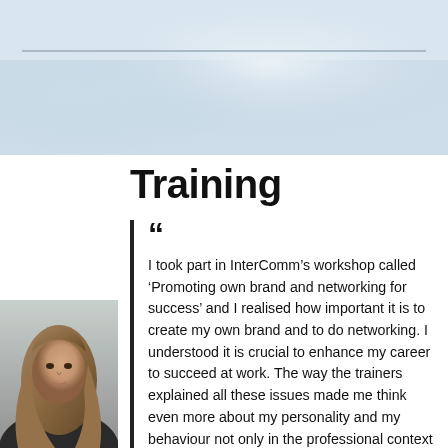[Figure (photo): Light blue/grey blurred background hero image at top of page, with a thin horizontal rule below it]
Training
[Figure (photo): Partial photo of a woman with long hair visible at the bottom-left of the page]
“I took part in InterComm’s workshop called ‘Promoting own brand and networking for success’ and I realised how important it is to create my own brand and to do networking. I understood it is crucial to enhance my career to succeed at work. The way the trainers explained all these issues made me think even more about my personality and my behaviour not only in the professional context but also in private